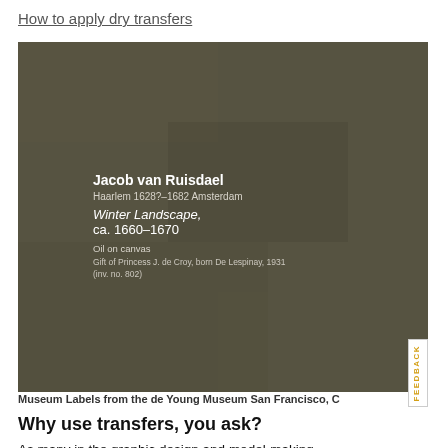How to apply dry transfers
[Figure (photo): Museum wall label on dark olive/brown textured surface. Label reads: Jacob van Ruisdael, Haarlem 1628?-1682 Amsterdam, Winter Landscape, ca. 1660-1670, Oil on canvas, Gift of Princess J. de Croy, born De Lespinay, 1931 (inv. no. 802)]
Museum Labels from the de Young Museum San Francisco, C
Why use transfers, you ask?
As many in the graphic design and model-making